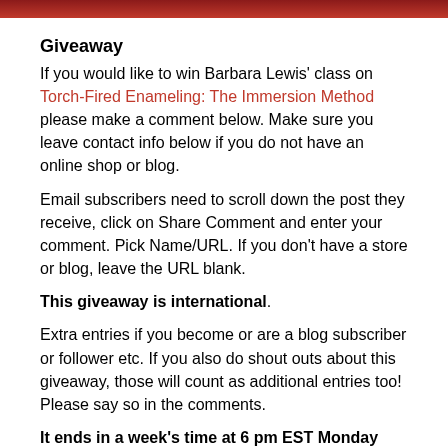[Figure (photo): Decorative image bar at top of page, dark red/maroon color strip]
Giveaway
If you would like to win Barbara Lewis' class on Torch-Fired Enameling: The Immersion Method please make a comment below. Make sure you leave contact info below if you do not have an online shop or blog.
Email subscribers need to scroll down the post they receive, click on Share Comment and enter your comment. Pick Name/URL. If you don't have a store or blog, leave the URL blank.
This giveaway is international.
Extra entries if you become or are a blog subscriber or follower etc. If you also do shout outs about this giveaway, those will count as additional entries too! Please say so in the comments.
It ends in a week's time at 6 pm EST Monday